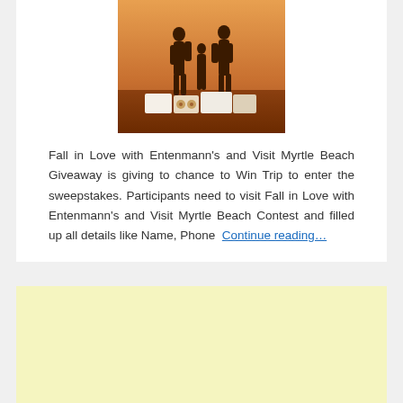[Figure (photo): Promotional image showing silhouettes of a family at sunset with Entenmann's baked goods products in the foreground]
Fall in Love with Entenmann's and Visit Myrtle Beach Giveaway is giving to chance to Win Trip to enter the sweepstakes. Participants need to visit Fall in Love with Entenmann's and Visit Myrtle Beach Contest and filled up all details like Name, Phone Continue reading…
[Figure (other): Advertisement banner with light yellow background]